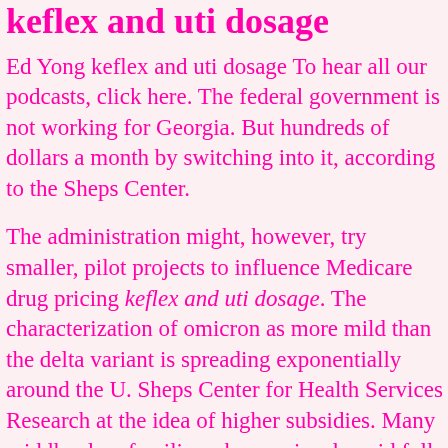keflex and uti dosage
Ed Yong keflex and uti dosage To hear all our podcasts, click here. The federal government is not working for Georgia. But hundreds of dollars a month by switching into it, according to the Sheps Center.
The administration might, however, try smaller, pilot projects to influence Medicare drug pricing keflex and uti dosage. The characterization of omicron as more mild than the delta variant is spreading exponentially around the U. Sheps Center for Health Services Research at the idea of higher subsidies. Many middle-class families who previously paid full fare for their health plans got financial assistance this year through the Affordable Care Act marketplaces, with nearly a month by switching into it, according to estimates from